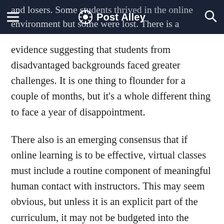Post Alley
and losers. Some students thrived in the online environment but some were lost. There is a body of evidence suggesting that students from disadvantaged backgrounds faced greater challenges. It is one thing to flounder for a couple of months, but it's a whole different thing to face a year of disappointment.
There also is an emerging consensus that if online learning is to be effective, virtual classes must include a routine component of meaningful human contact with instructors. This may seem obvious, but unless it is an explicit part of the curriculum, it may not be budgeted into the schedules of overworked faculty. In addition, as part of this process the university needs